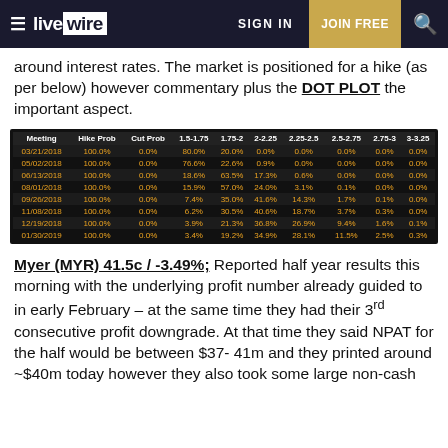live wire | SIGN IN | JOIN FREE
around interest rates. The market is positioned for a hike (as per below) however commentary plus the DOT PLOT the important aspect.
| Meeting | Hike Prob | Cut Prob | 1.5-1.75 | 1.75-2 | 2-2.25 | 2.25-2.5 | 2.5-2.75 | 2.75-3 | 3-3.25 |
| --- | --- | --- | --- | --- | --- | --- | --- | --- | --- |
| 03/21/2018 | 100.0% | 0.0% | 80.0% | 20.0% | 0.0% | 0.0% | 0.0% | 0.0% | 0.0% |
| 05/02/2018 | 100.0% | 0.0% | 76.6% | 22.6% | 0.9% | 0.0% | 0.0% | 0.0% | 0.0% |
| 06/13/2018 | 100.0% | 0.0% | 18.6% | 63.5% | 17.3% | 0.6% | 0.0% | 0.0% | 0.0% |
| 08/01/2018 | 100.0% | 0.0% | 15.9% | 57.0% | 24.0% | 3.1% | 0.1% | 0.0% | 0.0% |
| 09/26/2018 | 100.0% | 0.0% | 7.4% | 35.0% | 41.6% | 14.3% | 1.7% | 0.1% | 0.0% |
| 11/08/2018 | 100.0% | 0.0% | 6.2% | 30.5% | 40.6% | 18.7% | 3.7% | 0.3% | 0.0% |
| 12/19/2018 | 100.0% | 0.0% | 3.9% | 21.3% | 36.8% | 26.9% | 9.4% | 1.6% | 0.1% |
| 01/30/2019 | 100.0% | 0.0% | 3.4% | 19.2% | 34.9% | 28.1% | 11.5% | 2.5% | 0.3% |
Myer (MYR) 41.5c / -3.49%; Reported half year results this morning with the underlying profit number already guided to in early February – at the same time they had their 3rd consecutive profit downgrade. At that time they said NPAT for the half would be between $37- 41m and they printed around ~$40m today however they also took some large non-cash